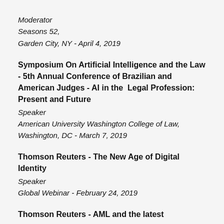Moderator
Seasons 52,
Garden City, NY - April 4, 2019
Symposium On Artificial Intelligence and the Law - 5th Annual Conference of Brazilian and American Judges - AI in the Legal Profession: Present and Future
Speaker
American University Washington College of Law, Washington, DC - March 7, 2019
Thomson Reuters - The New Age of Digital Identity
Speaker
Global Webinar - February 24, 2019
Thomson Reuters - AML and the latest